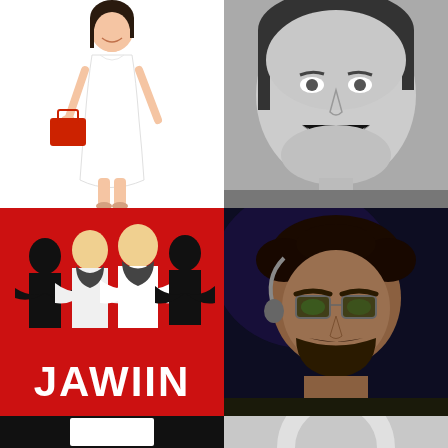[Figure (photo): Young woman in white sleeveless dress holding a red handbag, standing against white background]
[Figure (photo): Black and white close-up portrait of a smiling woman with dark hair]
[Figure (illustration): Red background illustration of four men standing in a row, with bold text 'JAWIIN' at the bottom]
[Figure (photo): Color photo of a bearded man wearing glasses, seated, in dim lighting]
[Figure (illustration): Black background with a white rectangle shape visible at bottom]
[Figure (illustration): Gray background with partial circular arc shape visible]